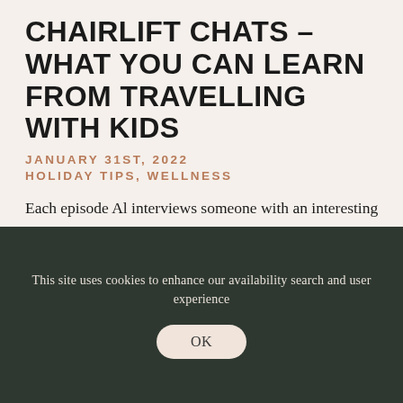CHAIRLIFT CHATS – WHAT YOU CAN LEARN FROM TRAVELLING WITH KIDS
JANUARY 31ST, 2022
HOLIDAY TIPS, WELLNESS
Each episode Al interviews someone with an interesting story to tell. They go skiing, they sit on a chairlift and they chat about mountain life
This site uses cookies to enhance our availability search and user experience